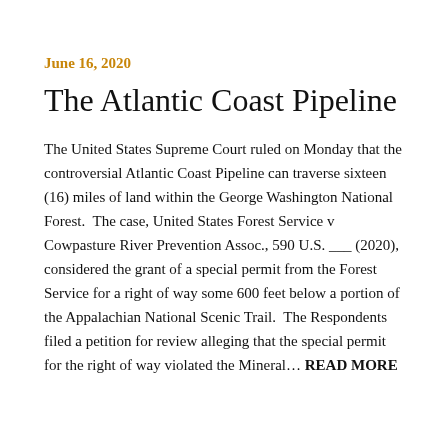June 16, 2020
The Atlantic Coast Pipeline
The United States Supreme Court ruled on Monday that the controversial Atlantic Coast Pipeline can traverse sixteen (16) miles of land within the George Washington National Forest.  The case, United States Forest Service v Cowpasture River Prevention Assoc., 590 U.S. ___ (2020), considered the grant of a special permit from the Forest Service for a right of way some 600 feet below a portion of the Appalachian National Scenic Trail.  The Respondents filed a petition for review alleging that the special permit for the right of way violated the Mineral… READ MORE